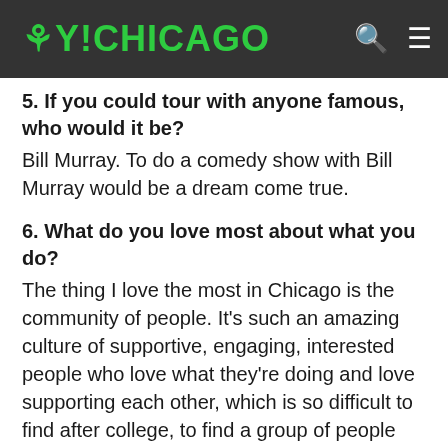OY!CHICAGO
5. If you could tour with anyone famous, who would it be?
Bill Murray. To do a comedy show with Bill Murray would be a dream come true.
6. What do you love most about what you do?
The thing I love the most in Chicago is the community of people. It's such an amazing culture of supportive, engaging, interested people who love what they're doing and love supporting each other, which is so difficult to find after college, to find a group of people who are really enthusiastic, supportive, intelligent and entertaining. Comedy in general, it sounds silly to say it, but just that buzz you get from making people happy,